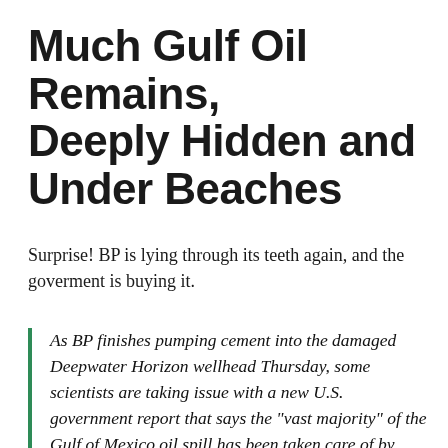Much Gulf Oil Remains, Deeply Hidden and Under Beaches
Surprise! BP is lying through its teeth again, and the goverment is buying it.
As BP finishes pumping cement into the damaged Deepwater Horizon wellhead Thursday, some scientists are taking issue with a new U.S. government report that says the "vast majority" of the Gulf of Mexico oil spill has been taken care of by nature and "robust" cleanup efforts.In addition, experts warn, much of the toxic oil from the worst spill in U.S. history may be trapped under Gulf beaches—where it could linger for years—or still